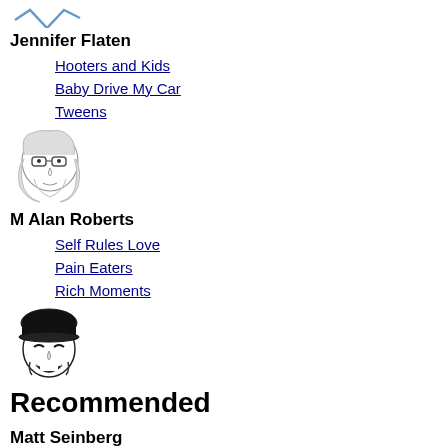[Figure (illustration): Partial avatar illustration at top, line-art style person outline in blue]
Jennifer Flaten
Hooters and Kids
Baby Drive My Car
Tweens
[Figure (illustration): Cartoon avatar of a woman with glasses and shoulder-length blonde hair, pencil sketch style]
M Alan Roberts
Self Rules Love
Pain Eaters
Rich Moments
[Figure (illustration): Cartoon avatar of a laughing man wearing a black hat/turban, bold black and white illustration]
Recommended
Matt Seinberg
Shannon Speculation
Random Thoughts
Assortment Ideas (partial, cut off)